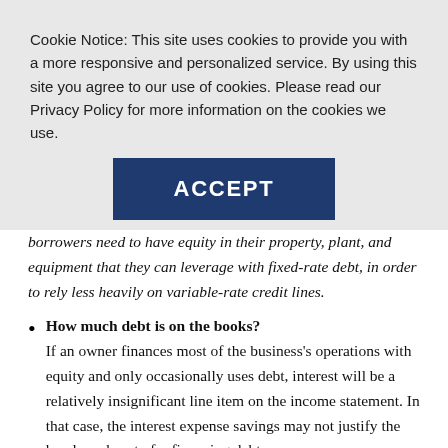Cookie Notice: This site uses cookies to provide you with a more responsive and personalized service. By using this site you agree to our use of cookies. Please read our Privacy Policy for more information on the cookies we use.
ACCEPT
borrowers need to have equity in their property, plant, and equipment that they can leverage with fixed-rate debt, in order to rely less heavily on variable-rate credit lines.
How much debt is on the books? If an owner finances most of the business's operations with equity and only occasionally uses debt, interest will be a relatively insignificant line item on the income statement. In that case, the interest expense savings may not justify the hassle and cost of refinancing debt.